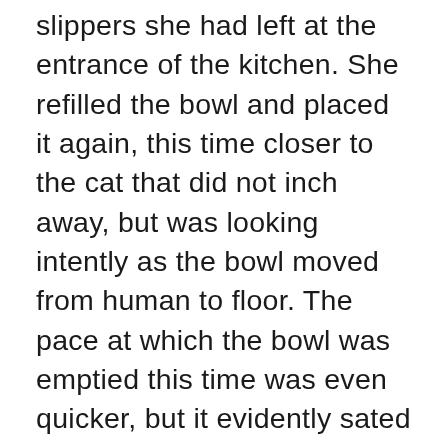slippers she had left at the entrance of the kitchen. She refilled the bowl and placed it again, this time closer to the cat that did not inch away, but was looking intently as the bowl moved from human to floor. The pace at which the bowl was emptied this time was even quicker, but it evidently sated the cat's hunger, for it did not look up again at Padma, but moved towards its favorite torn-up mat and lay down. She heated up a glass of milk, this time for herself, picked up the Harry Potter book from near the window and sat next to the cat. She took a sip of milk and opened the page to Silver and Opals and started reading out loud, a gentle palm on the